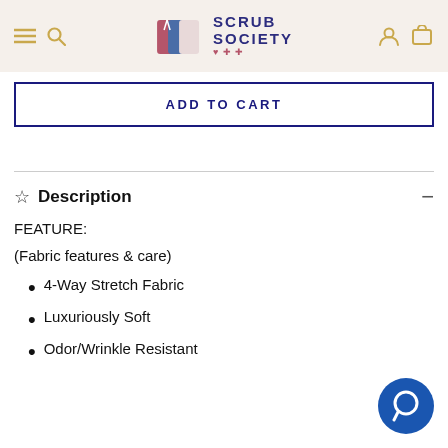Scrub Society — navigation header with menu, search, logo, user, and cart icons
ADD TO CART
Description
FEATURE:
(Fabric features & care)
4-Way Stretch Fabric
Luxuriously Soft
Odor/Wrinkle Resistant
[Figure (other): Blue circular chat support button in bottom right corner]